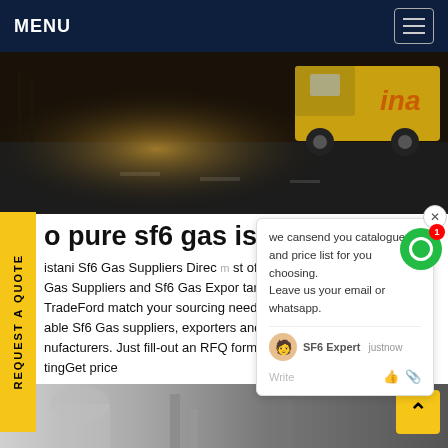MENU
[Figure (photo): Dark road at night with a yellow truck on the right side, orange/red text partially visible reading 'ina' on the right edge]
we cansend you catalogue and price list for you choosing. Leave us your email or whatsapp.
o pure sf6 gas is Po
istani Sf6 Gas Suppliers Direc m st of Gas Suppliers and Sf6 Gas Expor tan TradeFord match your sourcing needs with able Sf6 Gas suppliers, exporters and nufacturers. Just fill-out an RFQ form and start tingGet price
[Figure (photo): Bottom strip showing industrial equipment or gas cylinders in a facility]